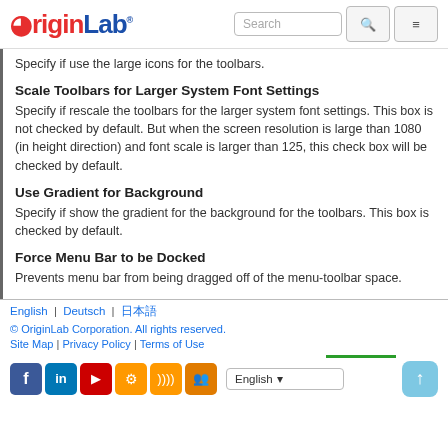OriginLab
Specify if use the large icons for the toolbars.
Scale Toolbars for Larger System Font Settings
Specify if rescale the toolbars for the larger system font settings. This box is not checked by default. But when the screen resolution is large than 1080 (in height direction) and font scale is larger than 125, this check box will be checked by default.
Use Gradient for Background
Specify if show the gradient for the background for the toolbars. This box is checked by default.
Force Menu Bar to be Docked
Prevents menu bar from being dragged off of the menu-toolbar space.
English | Deutsch | 日本語
© OriginLab Corporation. All rights reserved.
Site Map | Privacy Policy | Terms of Use